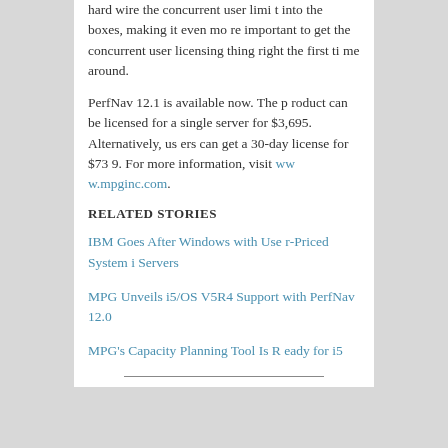hard wire the concurrent user limit into the boxes, making it even more important to get the concurrent user licensing thing right the first time around.
PerfNav 12.1 is available now. The product can be licensed for a single server for $3,695. Alternatively, users can get a 30-day license for $739. For more information, visit www.mpginc.com.
RELATED STORIES
IBM Goes After Windows with User-Priced System i Servers
MPG Unveils i5/OS V5R4 Support with PerfNav 12.0
MPG's Capacity Planning Tool Is Ready for i5